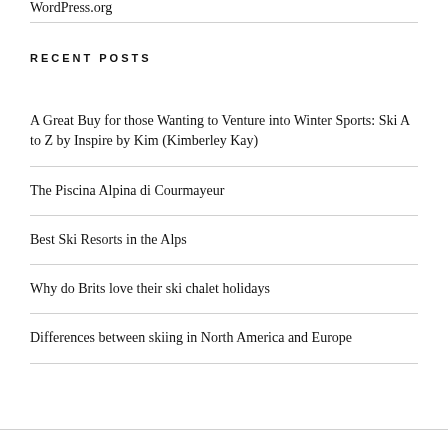WordPress.org
RECENT POSTS
A Great Buy for those Wanting to Venture into Winter Sports: Ski A to Z by Inspire by Kim (Kimberley Kay)
The Piscina Alpina di Courmayeur
Best Ski Resorts in the Alps
Why do Brits love their ski chalet holidays
Differences between skiing in North America and Europe